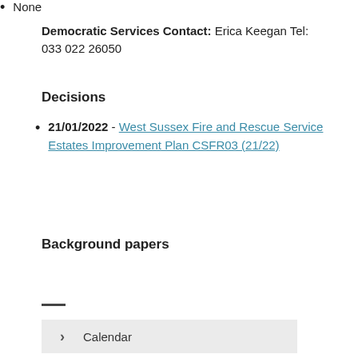Democratic Services Contact: Erica Keegan Tel: 033 02 26050
Decisions
21/01/2022 - West Sussex Fire and Rescue Service Estates Improvement Plan CSFR03 (21/22)
Background papers
None
Calendar